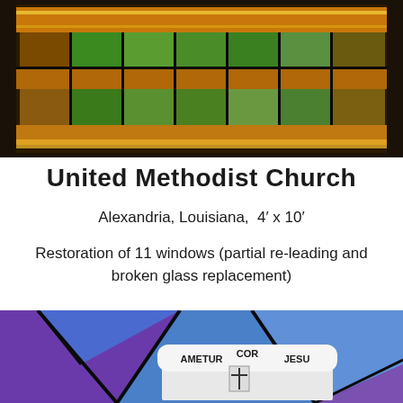[Figure (photo): Stained glass window with colorful panels including orange, yellow, green and amber tones arranged in a horizontal strip.]
United Methodist Church
Alexandria, Louisiana,  4′ x 10′
Restoration of 11 windows (partial re-leading and broken glass replacement)
[Figure (photo): Stained glass window featuring blue and purple geometric panels with a central medallion showing the text AMETUR COR JESU with a cross emblem on a white shield/banner.]